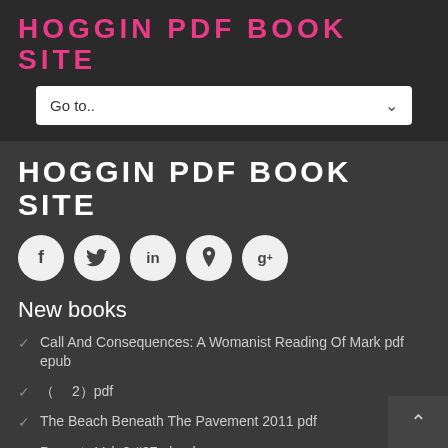HOGGIN PDF BOOK SITE
Go to..
HOGGIN PDF BOOK SITE
[Figure (infographic): Five circular social media icon buttons: Facebook (f), Twitter (bird), LinkedIn (in), Pinterest (p), Google+ (g+)]
New books
Call And Consequences: A Womanist Reading Of Mark pdf epub
（　 2）pdf
The Beach Beneath The Pavement 2011 pdf
Peanuts Vol. 2 #27 ebook
The Gardens Of Covington: A Novel (Ladies Of Covington) pdf